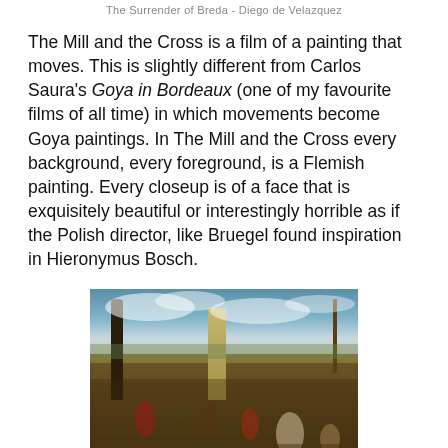The Surrender of Breda - Diego de Velazquez
The Mill and the Cross is a film of a painting that moves. This is slightly different from Carlos Saura's Goya in Bordeaux (one of my favourite films of all time) in which movements become Goya paintings. In The Mill and the Cross every background, every foreground, is a Flemish painting. Every closeup is of a face that is exquisitely beautiful or interestingly horrible as if the Polish director, like Bruegel found inspiration in Hieronymus Bosch.
[Figure (photo): A reproduction of a Flemish painting showing a large crowd of figures in a landscape with a tall tower/mill in the center background, trees on the left, and a cross on the right, under a dramatic cloudy sky — likely Bruegel's 'The Procession to Calvary'.]